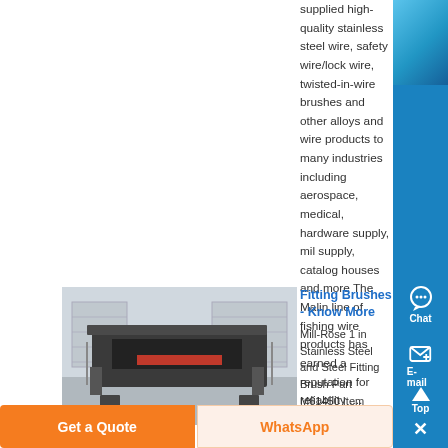supplied high-quality stainless steel wire, safety wire/lock wire, twisted-in-wire brushes and other alloys and wire products to many industries including aerospace, medical, hardware supply, military supply, catalog houses and more The Malin line of fishing wire products has earned a reputation for reliability ....
[Figure (photo): Industrial machinery - large dark metal vibrating screen/separator equipment in a warehouse/factory setting]
Fitting Brushes - Know More
Mill-Rose 1 in Stainless Steel and Steel Fitting Brush Part M61450 Item 448082 Mfr Part 61450 X POINTS 422 EACH Add to Cart Mill-Rose 2 in Tampico Fiber Tube Brush , Sioux Chief 1 in Stainless Steel Fitting Brush with Wire Handle Part S703...
Get a Quote
WhatsApp